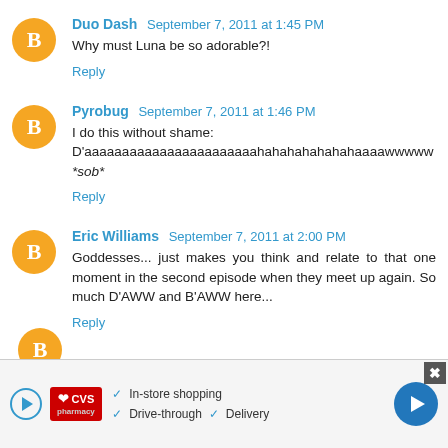Duo Dash  September 7, 2011 at 1:45 PM
Why must Luna be so adorable?!
Reply
Pyrobug  September 7, 2011 at 1:46 PM
I do this without shame:
D'aaaaaaaaaaaaaaaaaaaaaaahahahahahahahaaaawwwww
*sob*
Reply
Eric Williams  September 7, 2011 at 2:00 PM
Goddesses... just makes you think and relate to that one moment in the second episode when they meet up again. So much D'AWW and B'AWW here...
Reply
[Figure (screenshot): CVS Pharmacy advertisement banner with play button, CVS logo, checkmarks for In-store shopping, Drive-through, Delivery, and a blue arrow navigation button. Close button (X) in top right corner.]